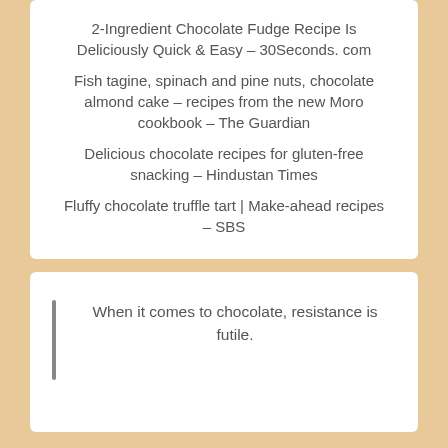2-Ingredient Chocolate Fudge Recipe Is Deliciously Quick & Easy – 30Seconds. com
Fish tagine, spinach and pine nuts, chocolate almond cake – recipes from the new Moro cookbook – The Guardian
Delicious chocolate recipes for gluten-free snacking – Hindustan Times
Fluffy chocolate truffle tart | Make-ahead recipes – SBS
When it comes to chocolate, resistance is futile.